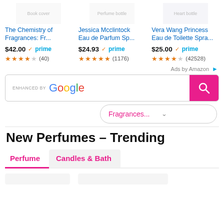[Figure (screenshot): Product listing row with three items: The Chemistry of Fragrances, Jessica Mcclintock Eau de Parfum Spray, and Vera Wang Princess Eau de Toilette Spray]
The Chemistry of Fragrances: Fr... $42.00 prime (40 reviews, 4.5 stars)
Jessica Mcclintock Eau de Parfum Sp... $24.93 prime (1176 reviews, 5 stars)
Vera Wang Princess Eau de Toilette Spra... $25.00 prime (42528 reviews, 4.5 stars)
Ads by Amazon
[Figure (screenshot): Enhanced by Google search bar with pink search button]
[Figure (screenshot): Fragrances... dropdown selector]
New Perfumes - Trending
Perfume | Candles & Bath tabs